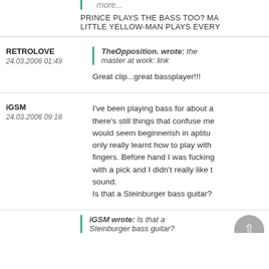more...
PRINCE PLAYS THE BASS TOO? MA LITTLE YELLOW-MAN PLAYS EVERY
TheOpposition. wrote: the master at work: link
RETROLOVE
24.03.2006 01:49
Great clip...great bassplayer!!!
iGSM
24.03.2006 09:18
I've been playing bass for about a there's still things that confuse me would seem beginnerish in aptitu only really learnt how to play with fingers. Before hand I was fucking with a pick and I didn't really like t sound. Is that a Steinburger bass guitar?
iGSM wrote: Is that a Steinburger bass guitar?